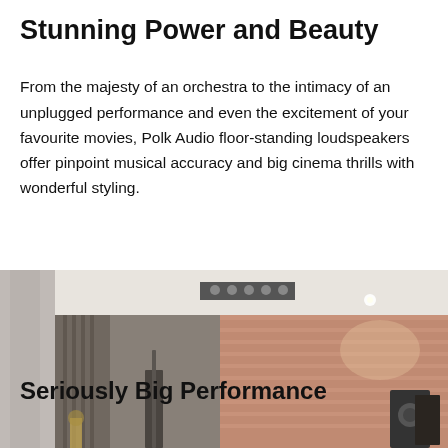Stunning Power and Beauty
From the majesty of an orchestra to the intimacy of an unplugged performance and even the excitement of your favourite movies, Polk Audio floor-standing loudspeakers offer pinpoint musical accuracy and big cinema thrills with wonderful styling.
[Figure (photo): Interior room photo showing floor-standing loudspeakers against a brick wall with recessed ceiling lights and dark curtains]
Seriously Big Performance